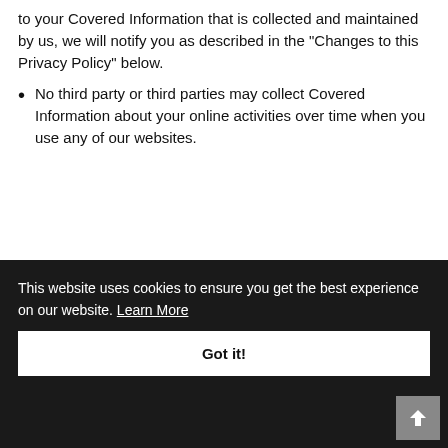to your Covered Information that is collected and maintained by us, we will notify you as described in the "Changes to this Privacy Policy" below.
No third party or third parties may collect Covered Information about your online activities over time when you use any of our websites.
[Figure (illustration): Light blue background section with a teal/blue circular icon partially visible at the bottom right]
This website uses cookies to ensure you get the best experience on our website. Learn More
Got it!